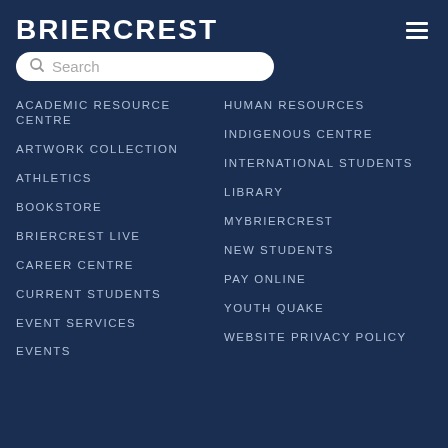BRIERCREST
ACADEMIC RESOURCE CENTRE
ARTWORK COLLECTION
ATHLETICS
BOOKSTORE
BRIERCREST LIVE
CAREER CENTRE
CURRENT STUDENTS
EVENT SERVICES
EVENTS
HUMAN RESOURCES
INDIGENOUS CENTRE
INTERNATIONAL STUDENTS
LIBRARY
MYBRIERCREST
NEW STUDENTS
PAY ONLINE
YOUTH QUAKE
WEBSITE PRIVACY POLICY